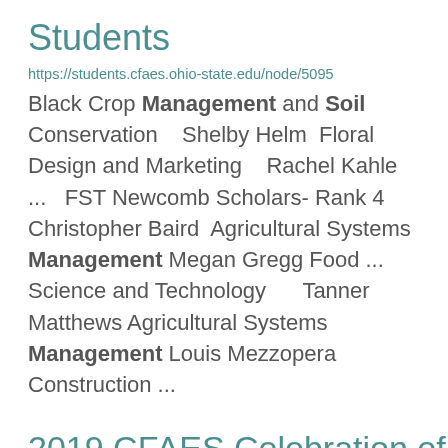Students
https://students.cfaes.ohio-state.edu/node/5095
Black Crop Management and Soil Conservation    Shelby Helm  Floral Design and Marketing    Rachel Kahle ...   FST Newcomb Scholars- Rank 4    Christopher Baird  Agricultural Systems Management  Megan Gregg Food ... Science and Technology      Tanner Matthews Agricultural Systems Management  Louis Mezzopera Construction ...
2019 CFAES Celebration of Students